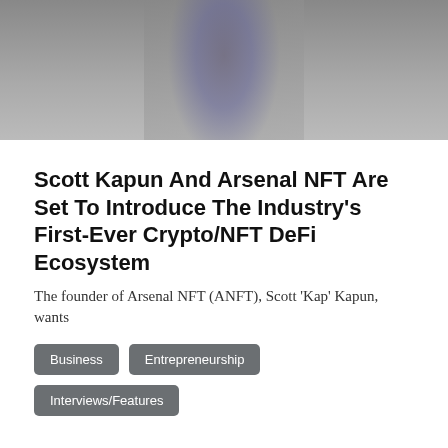[Figure (photo): Top portion of a person wearing a grey jacket open over a purple top, cropped at torso level]
Scott Kapun And Arsenal NFT Are Set To Introduce The Industry's First-Ever Crypto/NFT DeFi Ecosystem
The founder of Arsenal NFT (ANFT), Scott 'Kap' Kapun, wants
Business
Entrepreneurship
Interviews/Features
INSC MEDIA NETWORK
[Figure (photo): Bottom image of a person with blonde hair, partially visible, with metadata overlay showing @TheInscriberMag, June 30, 2021, 0 comments]
@TheInscriberMag  June 30, 2021  0 comme